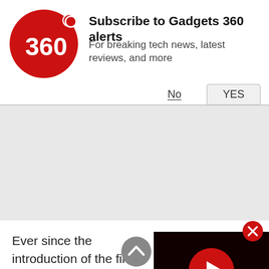[Figure (logo): Gadgets 360 logo — red circle with '360' text in white and a red dot]
Subscribe to Gadgets 360 alerts
For breaking tech news, latest reviews, and more
No   YES
[Figure (other): Grey advertisement area]
[Figure (other): Video player overlay (black background with red play button) with red close (X) button]
Ever since the introduction of the firs… maintained a $100 price increment b… In today's Rupee equivalent, that co… 9,000 for each step up. The price of… has declined rapidly over the years, but Apple has maintained the prices that end users must pay. No one else charges as much for additional storage space, and